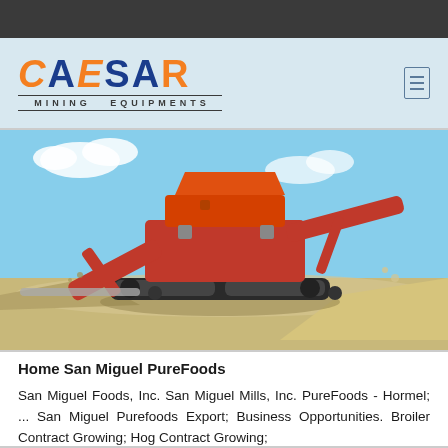[Figure (logo): CAESAR Mining Equipments logo — orange and blue lettering on light blue background]
[Figure (photo): Orange and black mobile mining/crushing equipment machine operating outdoors on sandy/gravelly terrain under blue sky]
Home San Miguel PureFoods
San Miguel Foods, Inc. San Miguel Mills, Inc. PureFoods - Hormel; ... San Miguel Purefoods Export; Business Opportunities. Broiler Contract Growing; Hog Contract Growing;